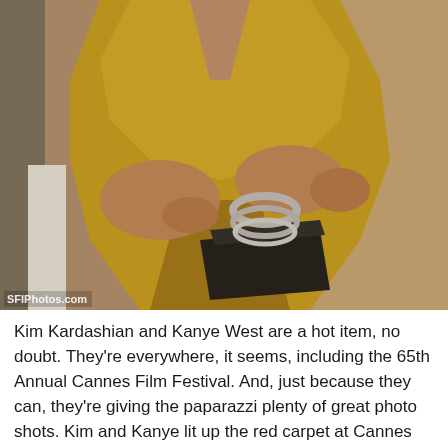[Figure (photo): Close-up photo of a woman in a yellow/mustard dress seated, wearing silver bracelets/bangles and holding a dark clutch bag. Watermark 'SFIPhotos.com' visible at bottom left.]
Kim Kardashian and Kanye West are a hot item, no doubt. They're everywhere, it seems, including the 65th Annual Cannes Film Festival. And, just because they can, they're giving the paparazzi plenty of great photo shots. Kim and Kanye lit up the red carpet at Cannes on Wednesday night, and it might